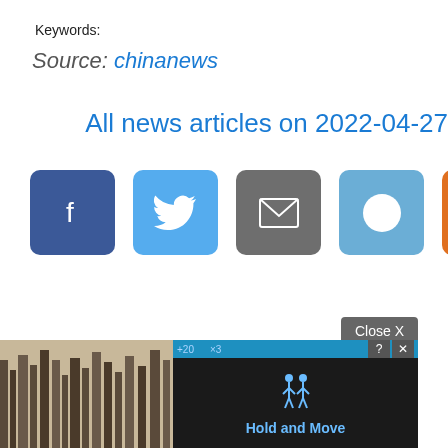Keywords:
Source: chinanews
All news articles on 2022-04-27
[Figure (screenshot): Social media share buttons: Facebook (dark blue), Twitter (light blue), Email (gray), Reddit (light blue), Hacker News (orange), displayed as rounded square icons with white symbols]
[Figure (screenshot): Bottom portion showing a Close X button overlay in dark gray, and a partial advertisement overlay showing a mobile game 'Hold and Move' with dark background and forest imagery on left side]